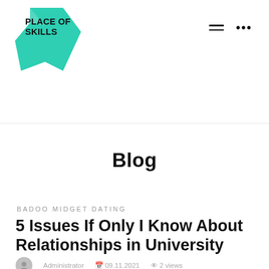[Figure (logo): Place of Skills logo with teal star/arrow shape and bold text PLACE OF SKILLS]
Blog
BADOO MIDGET DATING
5 Issues If Only I Know About Relationships in University
Administrator   09.11.2021   2 views